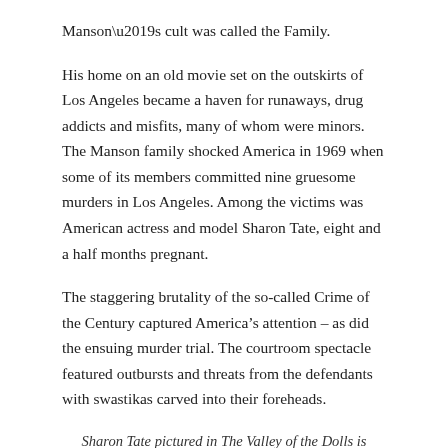Manson’s cult was called the Family.
His home on an old movie set on the outskirts of Los Angeles became a haven for runaways, drug addicts and misfits, many of whom were minors. The Manson family shocked America in 1969 when some of its members committed nine gruesome murders in Los Angeles. Among the victims was American actress and model Sharon Tate, eight and a half months pregnant.
The staggering brutality of the so-called Crime of the Century captured America’s attention – as did the ensuing murder trial. The courtroom spectacle featured outbursts and threats from the defendants with swastikas carved into their foreheads.
Sharon Tate pictured in The Valley of the Dolls is often the most remembered victim of the Manson family murders, but several others are among the dead: Bernard “Lotsapoppa” Crowe (survived), Gary Hinman, Abigail Folger, Wojciech Frykowski, Steven Parent, Jay Sebring, Leno and Rosemary LaBianca, Donald “Shorty” Shea, and James and